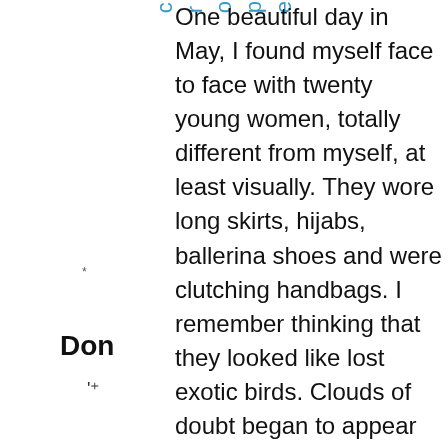c r o p e
*
Don
'⁺
One beautiful day in May, I found myself face to face with twenty young women, totally different from myself, at least visually. They wore long skirts, hijabs, ballerina shoes and were clutching handbags. I remember thinking that they looked like lost exotic birds. Clouds of doubt began to appear above my head. Was this really a good idea? Long skirts and ballerina shoes? But, despite my doubts, into the forest we went.  For two and a half